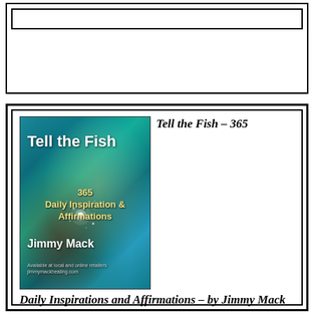[Figure (other): Top bordered box area with inner bordered rectangle, decorative frame element]
[Figure (illustration): Book cover for 'Tell the Fish – 365 Daily Inspirations and Affirmations' by Jimmy Mack, showing a nebula/space background in teal and blue tones with starlight]
Tell the Fish – 365 Daily Inspirations and Affirmations – by Jimmy Mack
MARCH 23RD